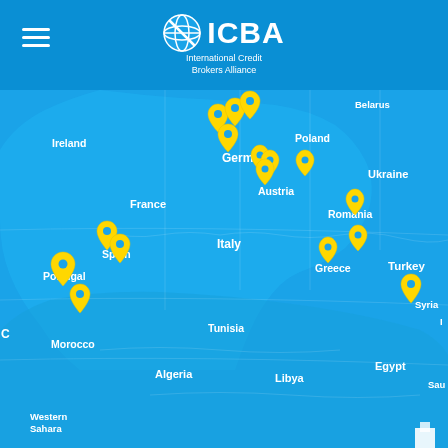[Figure (map): ICBA (International Credit Brokers Alliance) world map showing European member locations marked with yellow map pins on a blue background. Countries visible include Ireland, Germany, France, Spain, Portugal, Austria, Romania, Greece, Turkey, Italy, Ukraine, Belarus, Poland, Morocco, Tunisia, Algeria, Libya, Egypt, Sudan, Chad, Niger, Mali, Mauritania, Western Sahara, Guinea, Burkina Faso, Nigeria, Ghana, Gabon, DRC, Kenya, Ethiopia, Syria, Gulf of Guinea.]
ICBA International Credit Brokers Alliance